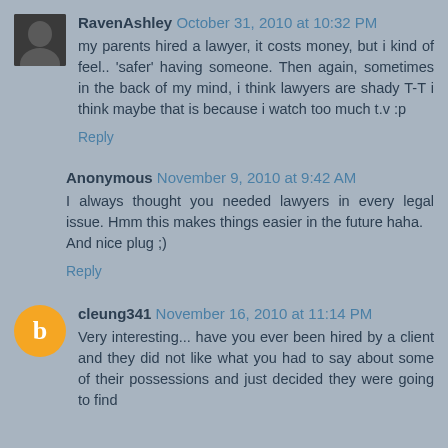RavenAshley October 31, 2010 at 10:32 PM
my parents hired a lawyer, it costs money, but i kind of feel.. 'safer' having someone. Then again, sometimes in the back of my mind, i think lawyers are shady T-T i think maybe that is because i watch too much t.v :p
Reply
Anonymous November 9, 2010 at 9:42 AM
I always thought you needed lawyers in every legal issue. Hmm this makes things easier in the future haha.
And nice plug ;)
Reply
cleung341 November 16, 2010 at 11:14 PM
Very interesting... have you ever been hired by a client and they did not like what you had to say about some of their possessions and just decided they were going to find another lawyer? My lawyer once gave me honest feedback about